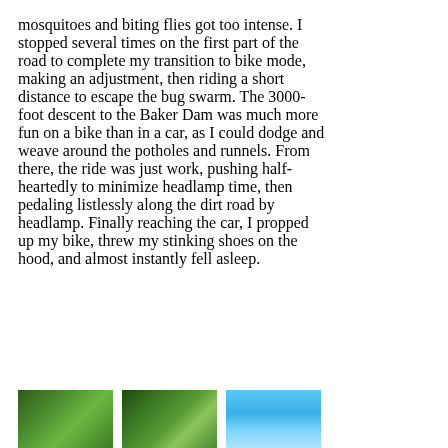mosquitoes and biting flies got too intense. I stopped several times on the first part of the road to complete my transition to bike mode, making an adjustment, then riding a short distance to escape the bug swarm. The 3000-foot descent to the Baker Dam was much more fun on a bike than in a car, as I could dodge and weave around the potholes and runnels. From there, the ride was just work, pushing half-heartedly to minimize headlamp time, then pedaling listlessly along the dirt road by headlamp. Finally reaching the car, I propped up my bike, threw my stinking shoes on the hood, and almost instantly fell asleep.
[Figure (photo): Three small thumbnail photos at the bottom of the page: two showing green vegetation/forest scenes, one showing a blue sky scene.]